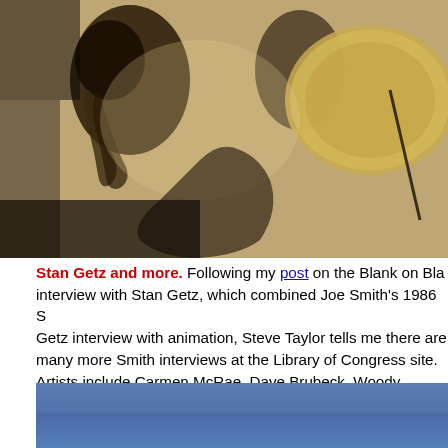[Figure (photo): Black and white sepia-toned photograph of jazz musicians performing, showing a person playing saxophone and a cymbal visible on the right side.]
Stan Getz and more. Following my post on the Blank on Bla interview with Stan Getz, which combined Joe Smith's 1986 S Getz interview with animation, Steve Taylor tells me there are many more Smith interviews at the Library of Congress site. Artists include Carmen McRae, Dave Brubeck, Woody Herma Mitch Miller, Bo Diddley, Artie Shaw, Herbie Hancock and othe Go here.
[Figure (photo): Partial view of a blue sky photograph at the bottom of the page.]